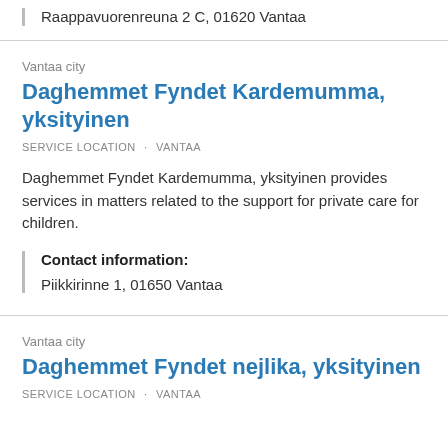Raappavuorenreuna 2 C, 01620 Vantaa
Vantaa city
Daghemmet Fyndet Kardemumma, yksityinen
SERVICE LOCATION · VANTAA
Daghemmet Fyndet Kardemumma, yksityinen provides services in matters related to the support for private care for children.
Contact information:
Piikkirinne 1, 01650 Vantaa
Vantaa city
Daghemmet Fyndet nejlika, yksityinen
SERVICE LOCATION · VANTAA